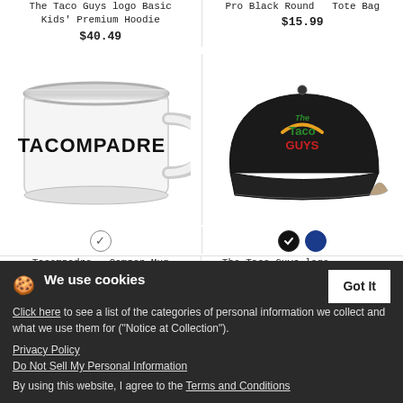The Taco Guys logo Basic Kids' Premium Hoodie
$40.49
Pro Black Round   Tote Bag
$15.99
[Figure (photo): White enamel camper mug with TACOMPADRE text in bold black letters and a silver rim]
[Figure (photo): Black baseball cap with The Taco Guys logo embroidered in green, yellow, and red]
Tacompadre – Camper Mug
$17.99
The Taco Guys logo Baseball Cap
$20.49
We use cookies
Click here to see a list of the categories of personal information we collect and what we use them for ("Notice at Collection").
Privacy Policy
Do Not Sell My Personal Information
By using this website, I agree to the Terms and Conditions